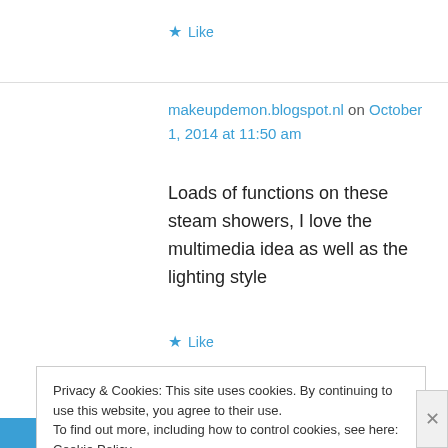★ Like
makeupdemon.blogspot.nl on October 1, 2014 at 11:50 am
Loads of functions on these steam showers, I love the multimedia idea as well as the lighting style
★ Like
Privacy & Cookies: This site uses cookies. By continuing to use this website, you agree to their use.
To find out more, including how to control cookies, see here: Cookie Policy
Close and accept